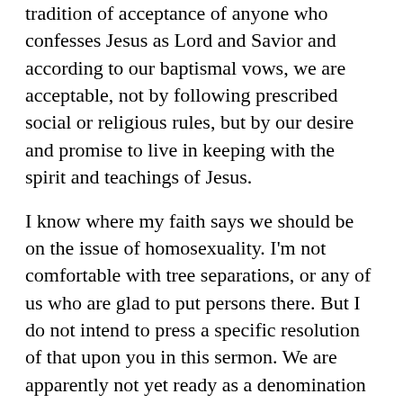tradition of acceptance of anyone who confesses Jesus as Lord and Savior and according to our baptismal vows, we are acceptable, not by following prescribed social or religious rules, but by our desire and promise to live in keeping with the spirit and teachings of Jesus.
I know where my faith says we should be on the issue of homosexuality. I'm not comfortable with tree separations, or any of us who are glad to put persons there. But I do not intend to press a specific resolution of that upon you in this sermon. We are apparently not yet ready as a denomination to declare any measurably new commitments in regard to human sexuality. And that is sad. But I surely hope that sooner rather than later, we will find it in our heart to accept the invitation of Jesus and let his spirit come among us as we try to take him seriously on this issue. In the words of our childhood game of hide and seek, Jesus, the one who seeks us as we hide from this issue is reminding us that He is forever coming to find us and hold us to